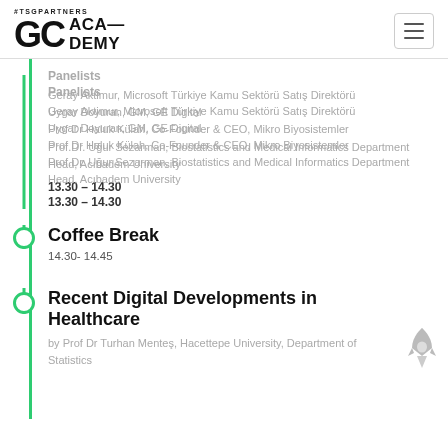BTSGPARTNERS GC ACADEMY
Panelists
Geray Aktimur, Microsoft Türkiye Kamu Sektörü Satış Direktörü
Uygar Doyuran, GM, GE Digital
Prof Dr Haluk Külah, Co-Founder & CEO, Mikro Biyosistemler
Prof.Dr. Uğur Sezarman, Biostatistics and Medical Informatics Department Head, Acıbadem University
13.30 – 14.30
Coffee Break
14.30- 14.45
Recent Digital Developments in Healthcare
by Prof Dr Turhan Menteş, Hacettepe University, Department of Statistics